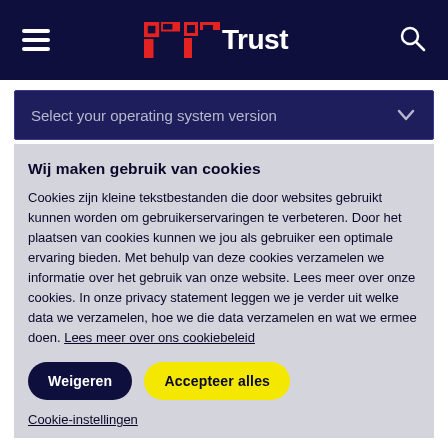Trust
Select your operating system version
Wij maken gebruik van cookies
Cookies zijn kleine tekstbestanden die door websites gebruikt kunnen worden om gebruikerservaringen te verbeteren. Door het plaatsen van cookies kunnen we jou als gebruiker een optimale ervaring bieden. Met behulp van deze cookies verzamelen we informatie over het gebruik van onze website. Lees meer over onze cookies. In onze privacy statement leggen we je verder uit welke data we verzamelen, hoe we die data verzamelen en wat we ermee doen. Lees meer over ons cookiebeleid
Weigeren
Accepteer alles
Cookie-instellingen